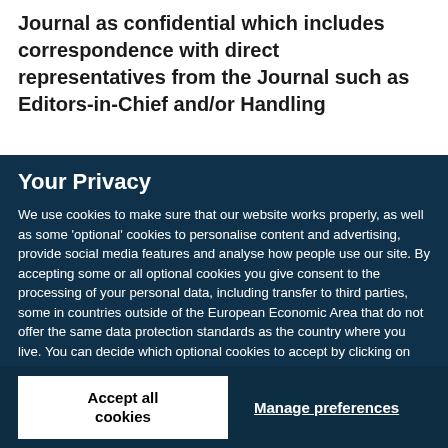Journal as confidential which includes correspondence with direct representatives from the Journal such as Editors-in-Chief and/or Handling
Your Privacy
We use cookies to make sure that our website works properly, as well as some ‘optional’ cookies to personalise content and advertising, provide social media features and analyse how people use our site. By accepting some or all optional cookies you give consent to the processing of your personal data, including transfer to third parties, some in countries outside of the European Economic Area that do not offer the same data protection standards as the country where you live. You can decide which optional cookies to accept by clicking on ‘Manage Settings’, where you can also find more information about how your personal data is processed. Further information can be found in our privacy policy.
Accept all cookies
Manage preferences